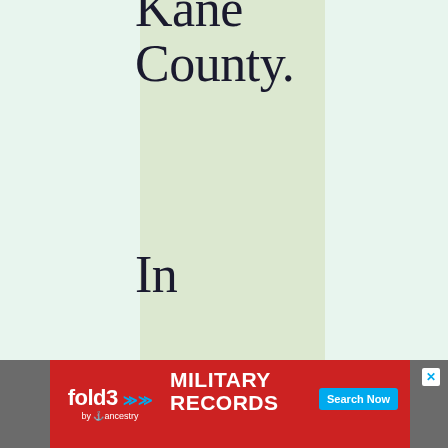Kane County.
In the County Court of Kane
[Figure (other): Advertisement banner for Fold3 by Ancestry: Military Records, Search Now button, with photo of soldier]